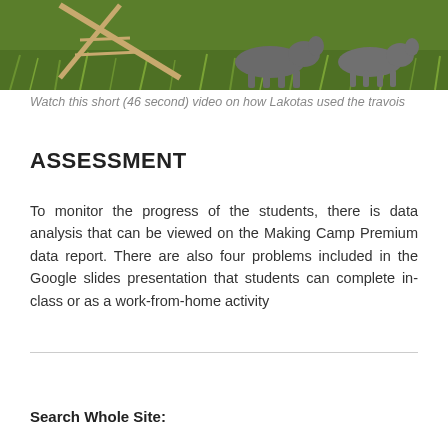[Figure (photo): Illustration showing a travois (a type of sled/transport frame) on green grass with animals, used by Lakota people]
Watch this short (46 second) video on how Lakotas used the travois
ASSESSMENT
To monitor the progress of the students, there is data analysis that can be viewed on the Making Camp Premium data report. There are also four problems included in the Google slides presentation that students can complete in-class or as a work-from-home activity
Search Whole Site: